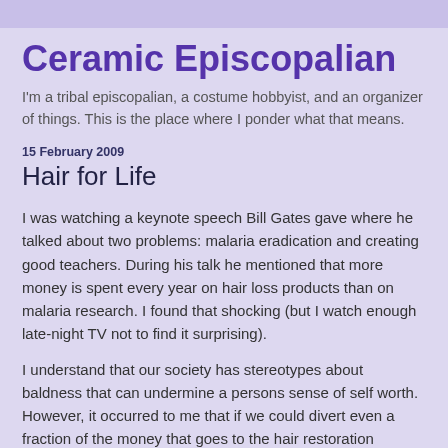Ceramic Episcopalian
I'm a tribal episcopalian, a costume hobbyist, and an organizer of things. This is the place where I ponder what that means.
15 February 2009
Hair for Life
I was watching a keynote speech Bill Gates gave where he talked about two problems: malaria eradication and creating good teachers. During his talk he mentioned that more money is spent every year on hair loss products than on malaria research. I found that shocking (but I watch enough late-night TV not to find it surprising).
I understand that our society has stereotypes about baldness that can undermine a persons sense of self worth. However, it occurred to me that if we could divert even a fraction of the money that goes to the hair restoration industry into malaria research it would make